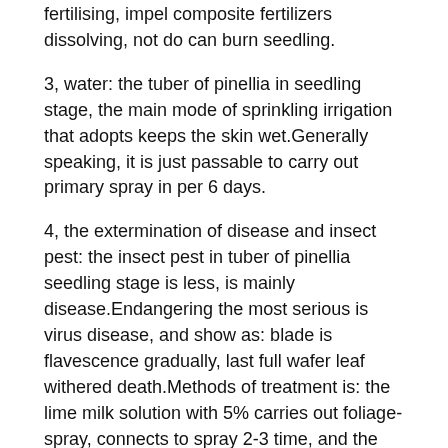fertilising, impel composite fertilizers dissolving, not do can burn seedling.
3, water: the tuber of pinellia in seedling stage, the main mode of sprinkling irrigation that adopts keeps the skin wet.Generally speaking, it is just passable to carry out primary spray in per 6 days.
4, the extermination of disease and insect pest: the insect pest in tuber of pinellia seedling stage is less, is mainly disease.Endangering the most serious is virus disease, and show as: blade is flavescence gradually, last full wafer leaf withered death.Methods of treatment is: the lime milk solution with 5% carries out foliage-spray, connects to spray 2-3 time, and the time interval is 5-7 days, can play therapeutic action.
When height of seedling reaches 10 centimetres of left and right sides, just entered into the field management stage, below, we have a talk about the field management of the tuber of pinellia.
(6) field management
White urea cyanogen MnZn), ridging, irrigation and